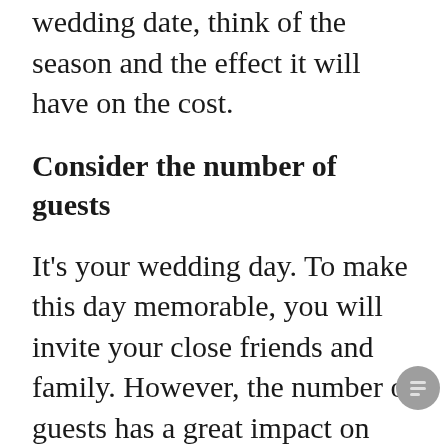off peak season. When choosing a wedding date, think of the season and the effect it will have on the cost.
Consider the number of guests
It's your wedding day. To make this day memorable, you will invite your close friends and family. However, the number of guests has a great impact on your wedding preparations. If you want a large number of guests, you need to budget for more food and drinks, and a spacious wedding venue. If you want to save money on your wedding day, consider inviting a limited number of guests.